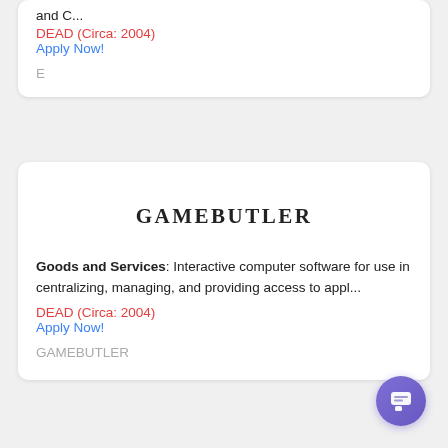and C...
DEAD (Circa: 2004)
Apply Now!
E
[Figure (logo): GAMEBUTLER brand name in bold serif font, centered]
Goods and Services: Interactive computer software for use in centralizing, managing, and providing access to appl...
DEAD (Circa: 2004)
Apply Now!
GAMEBUTLER